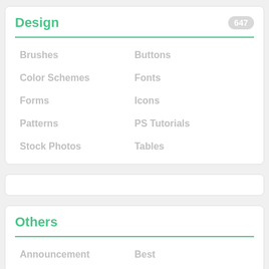Design
Brushes
Buttons
Color Schemes
Fonts
Forms
Icons
Patterns
PS Tutorials
Stock Photos
Tables
Others
Announcement
Best